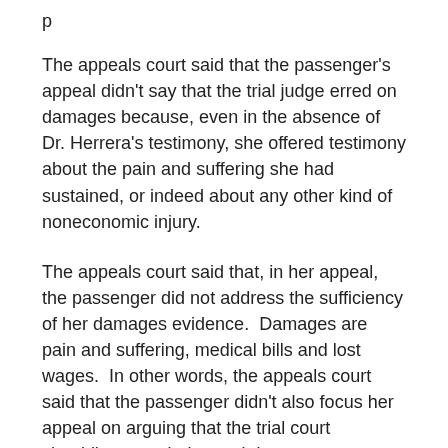The appeals court said that the passenger's appeal didn't say that the trial judge erred on damages because, even in the absence of Dr. Herrera's testimony, she offered testimony about the pain and suffering she had sustained, or indeed about any other kind of noneconomic injury.
The appeals court said that, in her appeal, the passenger did not address the sufficiency of her damages evidence. Damages are pain and suffering, medical bills and lost wages. In other words, the appeals court said that the passenger didn't also focus her appeal on arguing that the trial court should've awarded award damages.